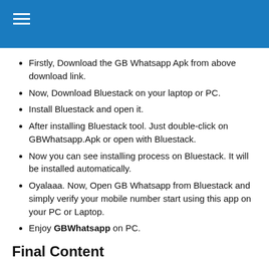Firstly, Download the GB Whatsapp Apk from above download link.
Now, Download Bluestack on your laptop or PC.
Install Bluestack and open it.
After installing Bluestack tool. Just double-click on GBWhatsapp.Apk or open with Bluestack.
Now you can see installing process on Bluestack. It will be installed automatically.
Oyalaaa. Now, Open GB Whatsapp from Bluestack and simply verify your mobile number start using this app on your PC or Laptop.
Enjoy GBWhatsapp on PC.
Final Content